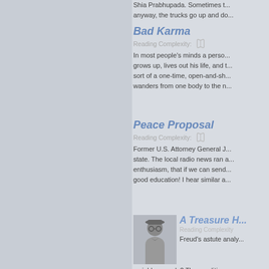Shia Prabhupada. Sometimes t... anyway, the trucks go up and do...
Bad Karma
Reading Complexity:
In most people's minds a person grows up, lives out his life, and t... sort of a one-time, open-and-sh... wanders from one body to the n...
Peace Proposal
Reading Complexity:
Former U.S. Attorney General J... state. The local radio news ran a... enthusiasm, that if we can send... good education! I hear similar a...
[Figure (photo): Portrait of a person wearing a hat and glasses, illustrated style]
A Treasure H...
Reading Complexity
Freud's astute analy... a viable remedy? The conditi...